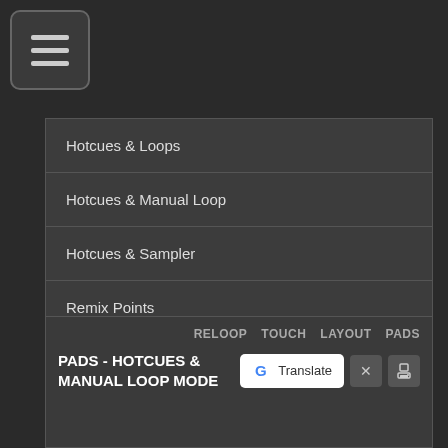[Figure (screenshot): Hamburger menu icon button in top left corner]
Hotcues & Loops
Hotcues & Manual Loop
Hotcues & Sampler
Remix Points
Saved Loops
Manual Loop
Custom
RELOOP  TOUCH  LAYOUT  PADS
PADS - HOTCUES & MANUAL LOOP MODE
[Figure (screenshot): Google Translate button, X close button, and print button]